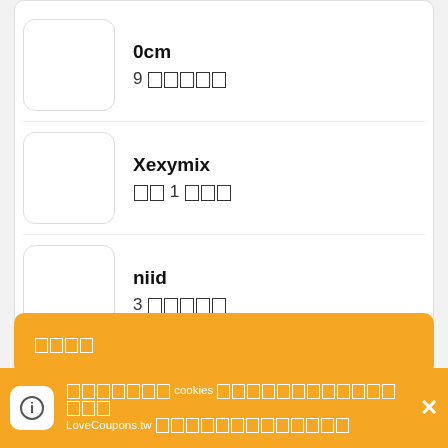0cm 9 [coupons]
Xexymix [XX] 1 [coupon]
niid 3 [coupons]
[Korean text - section header]
Adidas
[Cookie notice] cookies [text] LoveCoupons.tw [text]